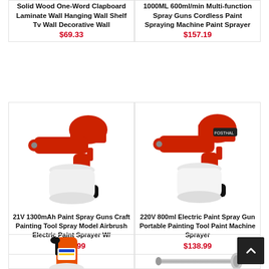Solid Wood One-Word Clapboard Laminate Wall Hanging Wall Shelf Tv Wall Decorative Wall
$69.33
1000ML 600ml/min Multi-function Spray Guns Cordless Paint Spraying Machine Paint Sprayer
$157.19
[Figure (photo): 21V 1300mAh paint spray gun, red and black cordless electric airbrush with white paint container]
21V 1300mAh Paint Spray Guns Craft Painting Tool Spray Model Airbrush Electric Paint Sprayer W/
$103.99
[Figure (photo): 220V 800ml electric paint spray gun, red and black body with white paint container]
220V 800ml Electric Paint Spray Gun Portable Painting Tool Paint Machine Sprayer
$138.99
[Figure (photo): Orange and white electric paint sprayer pump device]
[Figure (photo): Silver metal spray wand/lance attachment]